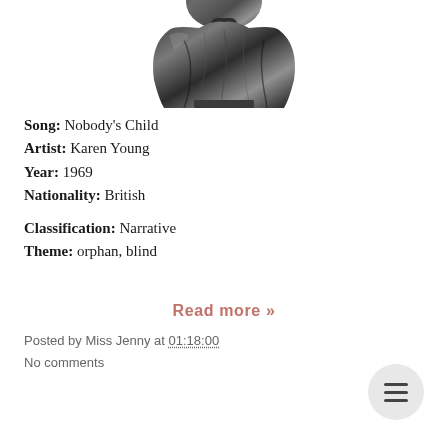[Figure (photo): Black and white photograph of a sculptural bust or figurine of a person wrapped in draped fabric, shown from the torso up, on a small pedestal. The image is partially cropped at the top.]
Song: Nobody's Child
Artist: Karen Young
Year: 1969
Nationality: British
Classification: Narrative
Theme: orphan, blind
Read more »
Posted by Miss Jenny at 01:18:00
No comments